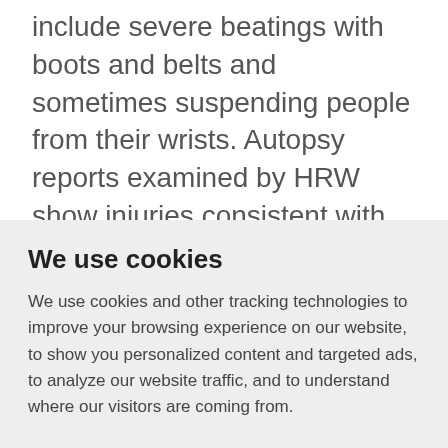include severe beatings with boots and belts and sometimes suspending people from their wrists. Autopsy reports examined by HRW show injuries consistent with blunt force trauma.
India has ratified the International Covenant on Civil and Political Rights and
We use cookies
We use cookies and other tracking technologies to improve your browsing experience on our website, to show you personalized content and targeted ads, to analyze our website traffic, and to understand where our visitors are coming from.